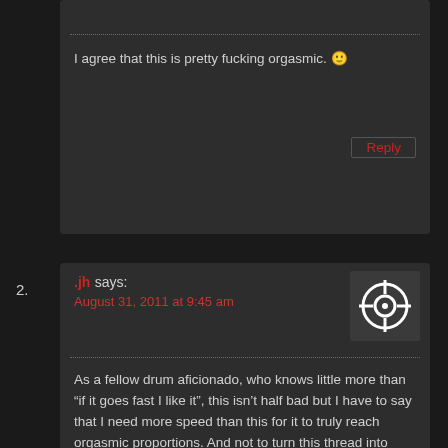I agree that this is pretty fucking orgasmic. 🙂
Reply
2.
.jh says:
August 31, 2011 at 9:45 am
[Figure (illustration): Crosshair/target sight avatar icon in white on dark background]
As a fellow drum aficionado, who knows little more than “if it goes fast I like it”, this isn’t half bad but I have to say that I need more speed than this for it to truly reach orgasmic proportions. And not to turn this thread into “namedrop fast drummers”, but youtube a few videos of Absu or 1349 to get a truly orgasmic fill of unadulterated speed.
Reply
Islander says:
August 31, 2011 at 10:37 am
[Figure (photo): Profile photo showing tattooed arm]
Funny you should mention Absu — BadWolf's review of the new album will be up here tomorrow. I don't